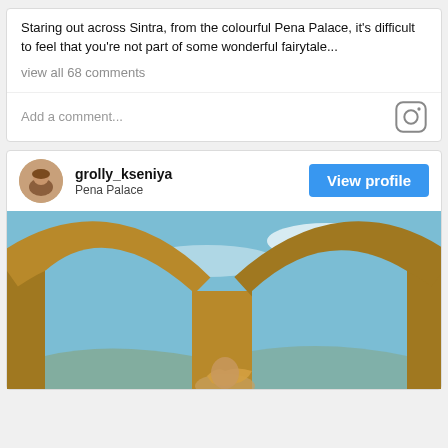Staring out across Sintra, from the colourful Pena Palace, it's difficult to feel that you're not part of some wonderful fairytale...
view all 68 comments
Add a comment...
grolly_kseniya
Pena Palace
View profile
[Figure (photo): Photo of ornate golden/ochre stone arches at Pena Palace, Sintra, with blue sky visible through the arches. A woman with blonde hair is visible in the lower portion of the image.]